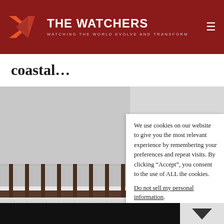THE WATCHERS — WATCHING THE WORLD EVOLVE AND TRANSFORM
coastal...
[Figure (photo): Snowy dock or pier with icicles hanging, foggy winter coastal scene in black and white tones]
We use cookies on our website to give you the most relevant experience by remembering your preferences and repeat visits. By clicking “Accept”, you consent to the use of ALL the cookies. Do not sell my personal information.